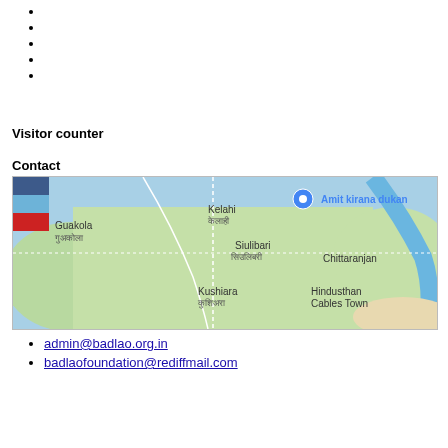Visitor counter
Contact
[Figure (map): Google Maps view showing Guakola, Kelahi, Amit kirana dukan (pin), Siulibari, Chittaranjan, Kushiara, Hindusthan Cables Town area with river and roads]
admin@badlao.org.in
badlaofoundation@rediffmail.com